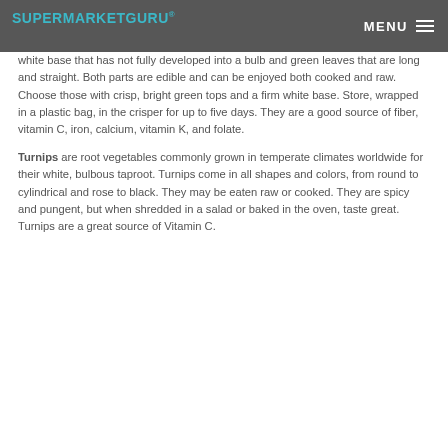SUPERMARKETGURU® MENU
white base that has not fully developed into a bulb and green leaves that are long and straight. Both parts are edible and can be enjoyed both cooked and raw. Choose those with crisp, bright green tops and a firm white base. Store, wrapped in a plastic bag, in the crisper for up to five days. They are a good source of fiber, vitamin C, iron, calcium, vitamin K, and folate.
Turnips are root vegetables commonly grown in temperate climates worldwide for their white, bulbous taproot. Turnips come in all shapes and colors, from round to cylindrical and rose to black. They may be eaten raw or cooked. They are spicy and pungent, but when shredded in a salad or baked in the oven, taste great. Turnips are a great source of Vitamin C.